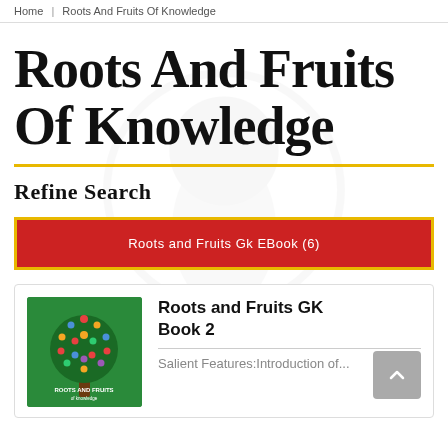Home | Roots And Fruits Of Knowledge
Roots And Fruits Of Knowledge
Refine Search
Roots and Fruits Gk EBook (6)
[Figure (illustration): Book cover for Roots and Fruits GK Book 2 showing a colorful tree made of dots/circles on a green background with the text ROOTS AND FRUITS of knowledge]
Roots and Fruits GK Book 2
Salient Features:Introduction of...